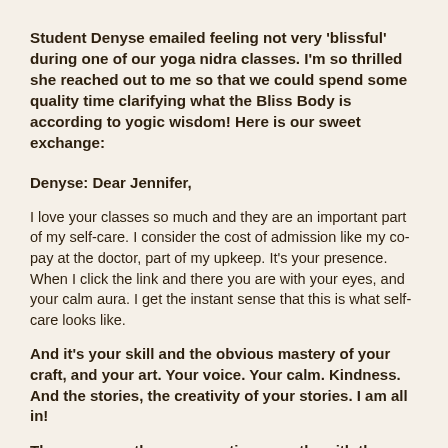Student Denyse emailed feeling not very 'blissful' during one of our yoga nidra classes. I'm so thrilled she reached out to me so that we could spend some quality time clarifying what the Bliss Body is according to yogic wisdom! Here is our sweet exchange:
Denyse: Dear Jennifer,
I love your classes so much and they are an important part of my self-care. I consider the cost of admission like my co-pay at the doctor, part of my upkeep. It's your presence.  When I click the link and there you are with your eyes, and your calm aura. I get the instant sense that this is what self-care looks like.
And it's your skill and the obvious mastery of your craft, and your art. Your voice. Your calm. Kindness. And the stories, the creativity of your stories. I am all in!
There was another one practice recently, with the